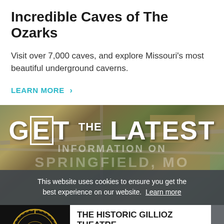Incredible Caves of The Ozarks
Visit over 7,000 caves, and explore Missouri's most beautiful underground caverns.
LEARN MORE >
[Figure (photo): Aerial view of Springfield MO with overlay text GET THE LATEST INFORMATION ON SPRINGFIELD, MO]
This website uses cookies to ensure you get the best experience on our website. Learn more
[Figure (logo): Historic Gillioz Theatre circular gold logo with letter G on black background]
THE HISTORIC GILLIOZ THEATRE
Enjoy live theater, concerts, movies and much more in this 1926 historic theater.